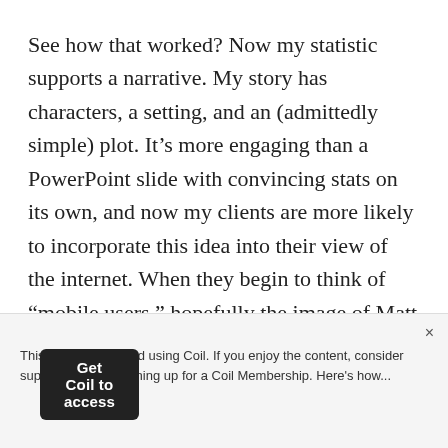See how that worked? Now my statistic supports a narrative. My story has characters, a setting, and an (admittedly simple) plot. It’s more engaging than a PowerPoint slide with convincing stats on its own, and now my clients are more likely to incorporate this idea into their view of the internet. When they begin to think of “mobile users,” hopefully the image of Matt Griffin on the couch absorbed in his iPhone while being manically circled by a pajama-clad toddler will enter their brains, along with our old friends Guy in Line at Grocery Store
This site is monetized using Coil. If you enjoy the content, consider supporting us by signing up for a Coil Membership. Here’s how...
Get Coil to access